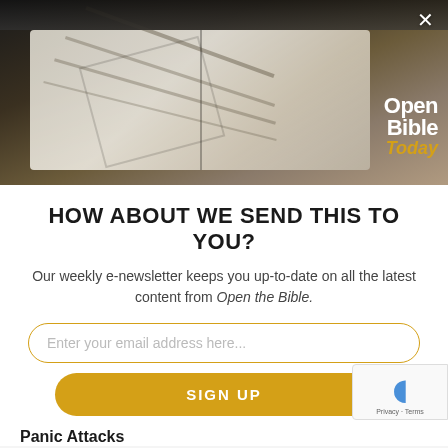[Figure (photo): Open Bible/book on a dark wooden surface with a plant in the background. Overlay logo 'Open Bible Today' in white and gold text.]
HOW ABOUT WE SEND THIS TO YOU?
Our weekly e-newsletter keeps you up-to-date on all the latest content from Open the Bible.
Enter your email address here...
SIGN UP
Panic Attacks